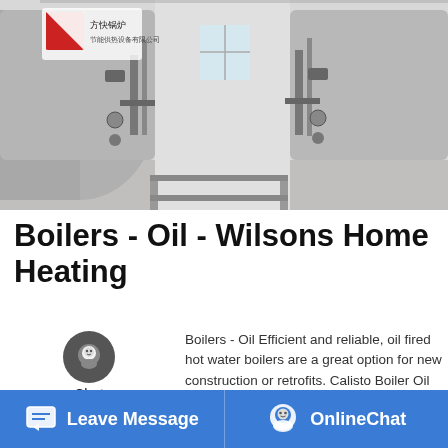[Figure (photo): Industrial boiler room with two large cylindrical horizontal boilers side by side, pipes and fittings visible, Chinese manufacturer logo in top left corner]
Boilers - Oil - Wilsons Home Heating
Boilers - Oil Efficient and reliable, oil fired hot water boilers are a great option for new construction or retrofits. Calisto Boiler Oil Fired Hot Water Boiler - Convertible to Propane. The Calisto boiler is a powerful source of heating for all of the modern zoned heat delivery systems including baseboard, in-floor radiant, steel
[Figure (screenshot): WhatsApp sticker save promotional banner with phone and emoji icons on pink/purple gradient background]
Leave Message   OnlineChat